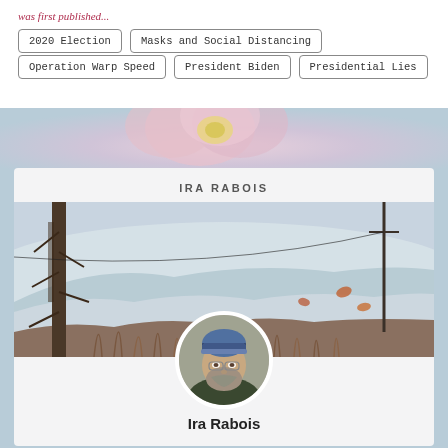...was first published...
2020 Election
Masks and Social Distancing
Operation Warp Speed
President Biden
Presidential Lies
[Figure (photo): Flower close-up with pink petals and yellow center, soft focus background]
IRA RABOIS
[Figure (photo): Winter landscape photo showing bare trees, wetlands, and snowy hills in background]
[Figure (photo): Circular portrait photo of Ira Rabois, an older man with gray beard wearing a knit cap and glasses outdoors]
Ira Rabois